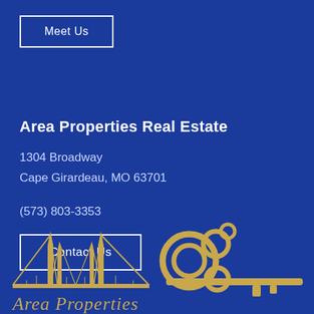Meet Us
Area Properties Real Estate
1304 Broadway
Cape Girardeau, MO 63701
(573) 803-3353
Contact Us
[Figure (logo): Area Properties Real Estate logo featuring a golden key with circles and a bridge silhouette, with 'Area Properties' in gold cursive text on a dark blue background]